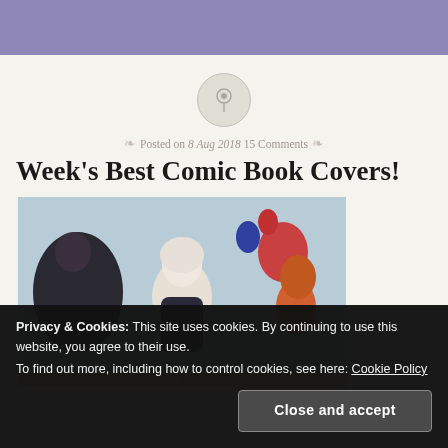Posted on 8 Aug 2018 15 Comments
Week's Best Comic Book Covers!
[Figure (photo): Comic book cover artwork featuring a pale figure with white hair and dark clothing surrounded by other illustrated characters, colorful comic style illustration]
Privacy & Cookies: This site uses cookies. By continuing to use this website, you agree to their use.
To find out more, including how to control cookies, see here: Cookie Policy
Close and accept